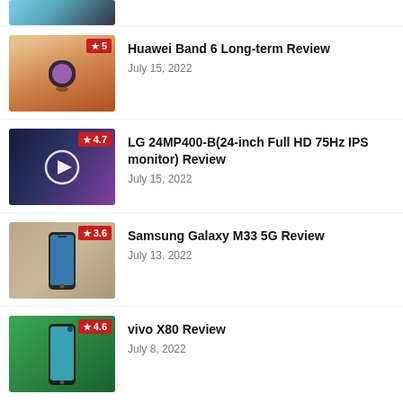[Figure (photo): Partial top thumbnail showing a phone/device]
[Figure (photo): Smartwatch/band on wrist, rating badge 5]
Huawei Band 6 Long-term Review
July 15, 2022
[Figure (photo): LG monitor with play button overlay, rating badge 4.7]
LG 24MP400-B(24-inch Full HD 75Hz IPS monitor) Review
July 15, 2022
[Figure (photo): Samsung Galaxy M33 5G phone, rating badge 3.6]
Samsung Galaxy M33 5G Review
July 13, 2022
[Figure (photo): vivo X80 phone in hand, rating badge 4.6]
vivo X80 Review
July 8, 2022